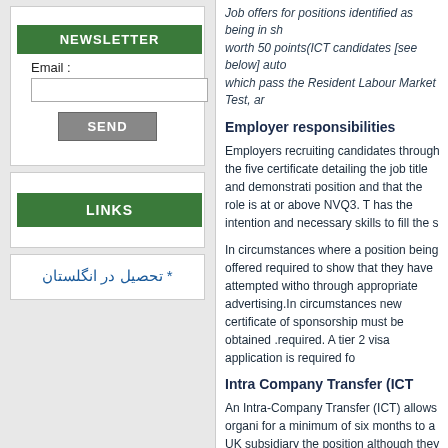NEWSLETTER
Email :
SEND
LINKS
* تحصیل در انگلستان
Job offers for positions identified as being in sh... worth 50 points(ICT candidates [see below] auto... which pass the Resident Labour Market Test, ar...
Employer responsibilities
Employers recruiting candidates through the five certificate detailing the job title and demonstrati... position and that the role is at or above NVQ3. T... has the intention and necessary skills to fill the s...
In circumstances where a position being offered required to show that they have attempted witho... through appropriate advertising.In circumstances new certificate of sponsorship must be obtained .required. A tier 2 visa application is required fo...
Intra Company Transfer (ICT
An Intra-Company Transfer (ICT) allows organi... for a minimum of six months to a UK subsidiary the position although they must demonstrate the experience to undertake the positio
An ICT visa is valid for between one day and fiv... the sponsoring company. The duration of the Int... Home office